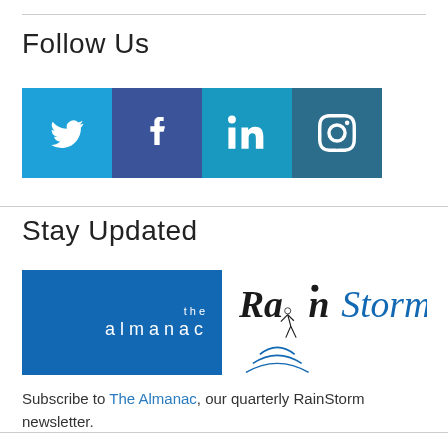Follow Us
[Figure (infographic): Social media icon bar with Twitter, Facebook, LinkedIn, and Instagram icons on colored background segments (light blue, dark blue, medium blue, dark teal).]
Stay Updated
[Figure (logo): The Almanac and RainStorm logos side by side. Left: blue box with white text 'the almanac'. Right: RainStorm logo with stylized runner and wave marks.]
Subscribe to The Almanac, our quarterly RainStorm newsletter.